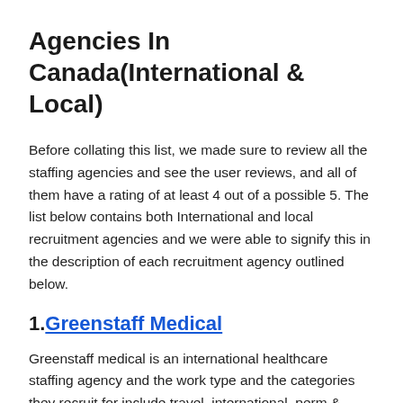Agencies In Canada(International & Local)
Before collating this list, we made sure to review all the staffing agencies and see the user reviews, and all of them have a rating of at least 4 out of a possible 5. The list below contains both International and local recruitment agencies and we were able to signify this in the description of each recruitment agency outlined below.
1.Greenstaff Medical
Greenstaff medical is an international healthcare staffing agency and the work type and the categories they recruit for include travel, international, perm & temporary.
Greenstaff Medical Contact Details